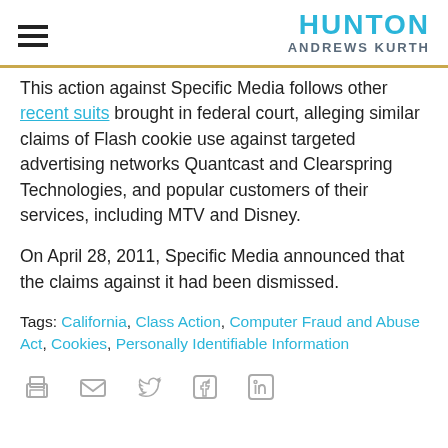HUNTON ANDREWS KURTH
This action against Specific Media follows other recent suits brought in federal court, alleging similar claims of Flash cookie use against targeted advertising networks Quantcast and Clearspring Technologies, and popular customers of their services, including MTV and Disney.
On April 28, 2011, Specific Media announced that the claims against it had been dismissed.
Tags: California, Class Action, Computer Fraud and Abuse Act, Cookies, Personally Identifiable Information
[Figure (other): Social sharing and print icons: printer, email, Twitter, Facebook, LinkedIn]